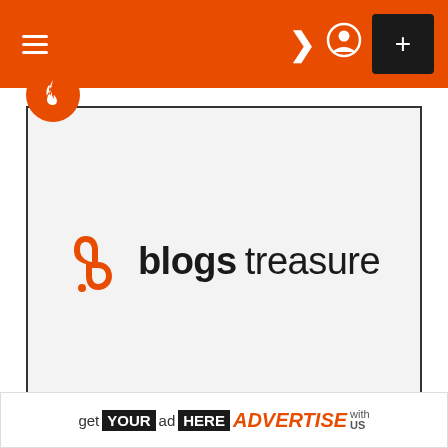Navigation bar with hamburger menu, moon icon, user icon, and plus button
[Figure (logo): Blogs Treasure logo: orange stylized 'b' icon followed by bold text 'blogs' and regular text 'treasure' on light gray background inside a bordered card]
Stainless Steel: An Omnipresent Material For Construction Industry
get YOUR ad HERE ADVERTISE with US